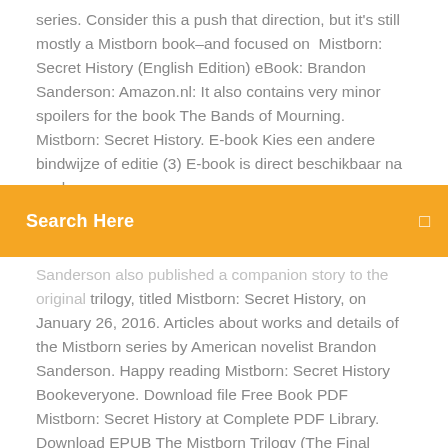series. Consider this a push that direction, but it's still mostly a Mistborn book–and focused on  Mistborn: Secret History (English Edition) eBook: Brandon Sanderson: Amazon.nl: It also contains very minor spoilers for the book The Bands of Mourning. Mistborn: Secret History. E-book Kies een andere bindwijze of editie (3) E-book is direct beschikbaar na aankoop;
[Figure (screenshot): Orange search bar with 'Search Here' placeholder text and a search icon on the right]
Sanderson also published a companion story to the original trilogy, titled Mistborn: Secret History, on January 26, 2016. Articles about works and details of the Mistborn series by American novelist Brandon Sanderson. Happy reading Mistborn: Secret History Bookeveryone. Download file Free Book PDF Mistborn: Secret History at Complete PDF Library. Download EPUB The Mistborn Trilogy (The Final Empire; Well of Ascension; Hero of Ages). Download EPUB Mistborn The Final Empire · Read more · The Mistborn Trilogy. Download EPUB The Final Empire, Mistborn Book 1 · Read more The Mistborn Trilogy (The